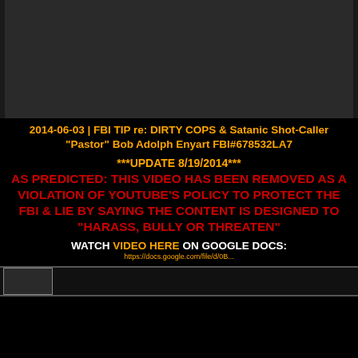[Figure (screenshot): Dark grey video player placeholder (top)]
2014-06-03 | FBI TIP re: DIRTY COPS & Satanic Shot-Caller "Pastor" Bob Adolph Enyart FBI#678532LA7
***UPDATE 8/19/2014***
AS PREDICTED: THIS VIDEO HAS BEEN REMOVED AS A VIOLATION OF YOUTUBE'S POLICY TO PROTECT THE FBI & LIE BY SAYING THE CONTENT IS DESIGNED TO "HARASS, BULLY OR THREATEN"
WATCH VIDEO HERE ON GOOGLE DOCS:
[Figure (screenshot): Dark video player placeholder (bottom)]